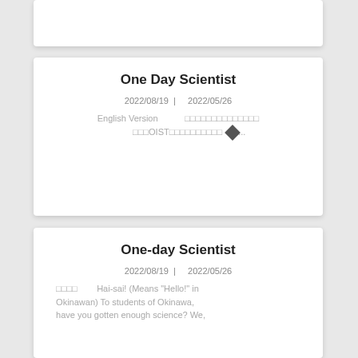One Day Scientist
2022/08/19 | 2022/05/26
English Version
□□□□□□□□□□□□□□
□□□OIST□□□□□□□□□□ ◆...
One-day Scientist
2022/08/19 | 2022/05/26
□□□□ Hai-sai! (Means "Hello!" in Okinawan) To students of Okinawa, have you gotten enough science? We,